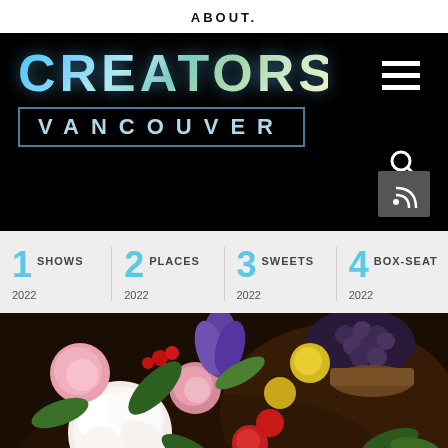ABOUT.
[Figure (screenshot): Creators Vancouver logo on black background with hamburger menu, search icon, and RSS button]
1 SHOWS 2022
2 PLACES 2022
3 SWEETS 2022
4 BOX-SEAT 2022
[Figure (photo): Classical Dutch still life painting of colorful flowers (pink roses, white peonies, purple iris, yellow flowers) with fruit (grapes, oranges) in background]